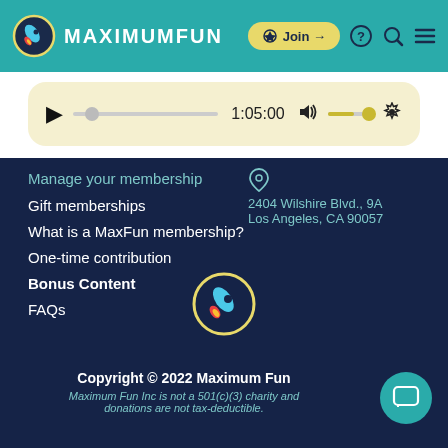[Figure (logo): Maximum Fun logo with rocket in circle and teal header bar with Join button, search, help, and menu icons]
[Figure (screenshot): Audio player with play button, progress bar, time 1:05:00, volume control, and settings gear icon]
Manage your membership
Gift memberships
What is a MaxFun membership?
One-time contribution
Bonus Content
FAQs
2404 Wilshire Blvd., 9A
Los Angeles, CA 90057
[Figure (logo): Maximum Fun rocket logo centered]
Copyright © 2022 Maximum Fun
Maximum Fun Inc is not a 501(c)(3) charity and donations are not tax-deductible.